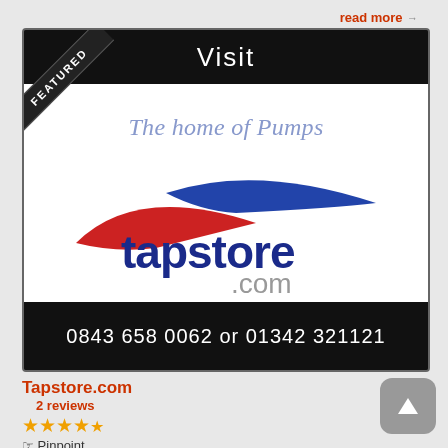read more →
[Figure (logo): Tapstore.com advertisement banner with 'FEATURED' ribbon, 'Visit' header, The home of Pumps tagline, tapstore.com logo with red and blue swoosh design, and phone number 0843 658 0062 or 01342 321121]
Tapstore.com
2 reviews
★★★★☆ (4 stars)
☞ Pinpoint
★ Add to Favorites